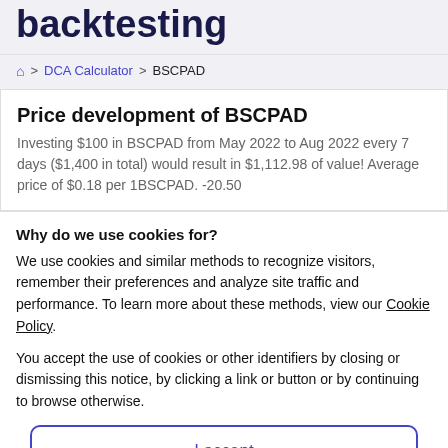backtesting
🏠 > DCA Calculator > BSCPAD
Price development of BSCPAD
Investing $100 in BSCPAD from May 2022 to Aug 2022 every 7 days ($1,400 in total) would result in $1,112.98 of value! Average price of $0.18 per 1BSCPAD. -20.50
Why do we use cookies for?
We use cookies and similar methods to recognize visitors, remember their preferences and analyze site traffic and performance. To learn more about these methods, view our Cookie Policy.
You accept the use of cookies or other identifiers by closing or dismissing this notice, by clicking a link or button or by continuing to browse otherwise.
I accept